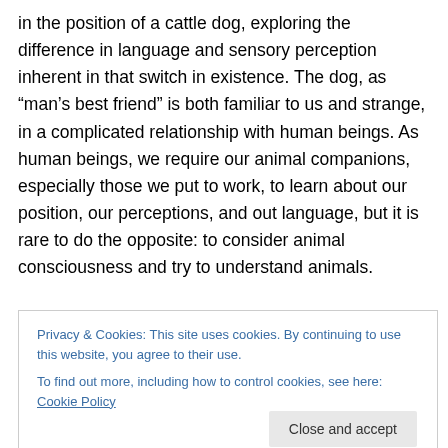in the position of a cattle dog, exploring the difference in language and sensory perception inherent in that switch in existence. The dog, as “man’s best friend” is both familiar to us and strange, in a complicated relationship with human beings. As human beings, we require our animal companions, especially those we put to work, to learn about our position, our perceptions, and out language, but it is rare to do the opposite: to consider animal consciousness and try to understand animals.
Chance, a dog who is accustomed to navigating the
Privacy & Cookies: This site uses cookies. By continuing to use this website, you agree to their use.
To find out more, including how to control cookies, see here: Cookie Policy
Close and accept
cattle mutilations in a small Saskatchewan farm. Chance